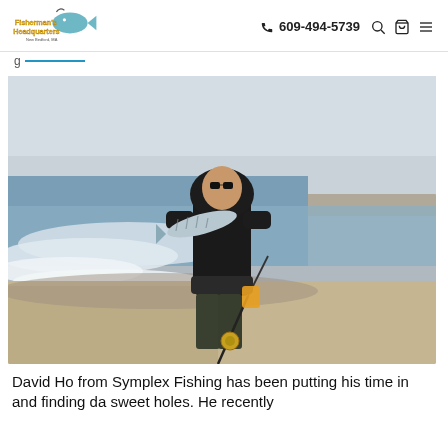Fisherman's Headquarters | 609-494-5739
[Figure (photo): Person wearing black hoodie and sunglasses standing on a beach holding up a striped bass fish, with ocean waves in background and a fishing rod visible in foreground]
David Ho from Symplex Fishing has been putting his time in and finding da sweet holes. He recently...